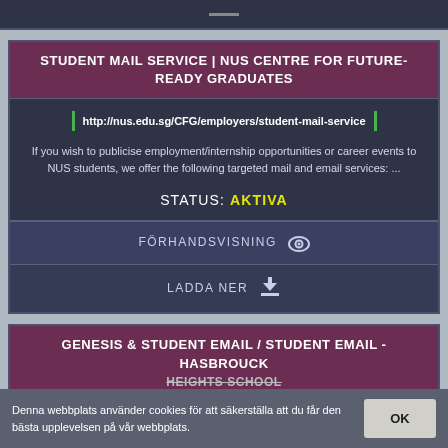STUDENT MAIL SERVICE | NUS CENTRE FOR FUTURE-READY GRADUATES
http://nus.edu.sg/CFG/employers/student-mail-service
If you wish to publicise employment/internship opportunities or career events to NUS students, we offer the following targeted mail and email services: ...
STATUS: AKTIVA
FÖRHANDSVISNING
LADDA NER
GENESIS & STUDENT EMAIL / STUDENT EMAIL - HASBROUCK HEIGHTS SCHOOL
Denna webbplats använder cookies för att säkerställa att du får den bästa upplevelsen på vår webbplats.